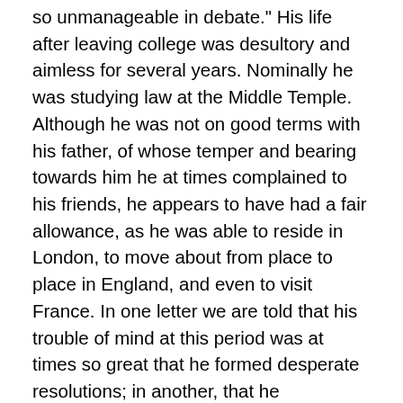so unmanageable in debate." His life after leaving college was desultory and aimless for several years. Nominally he was studying law at the Middle Temple. Although he was not on good terms with his father, of whose temper and bearing towards him he at times complained to his friends, he appears to have had a fair allowance, as he was able to reside in London, to move about from place to place in England, and even to visit France. In one letter we are told that his trouble of mind at this period was at times so great that he formed desperate resolutions; in another, that he contemplated emigration to America. In 1756 he published anonymously the small but celebrated work, entitled A Vindication of Natural Society. It was a successful imitation of Bolingbroke's style; and the design was, as he afterwards declared, to show " that without the exertions of any considerable forces, the same engines which were employed for the destruction of religion might be employed